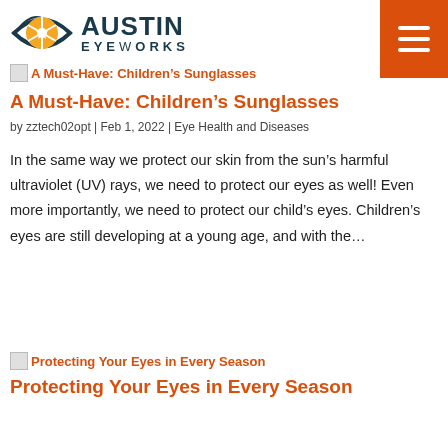[Figure (logo): Austin EyeWorks logo with eye icon and text]
[Figure (other): Orange hamburger menu button in top right corner]
A Must-Have: Children's Sunglasses
A Must-Have: Children's Sunglasses
by zztech02opt | Feb 1, 2022 | Eye Health and Diseases
In the same way we protect our skin from the sun's harmful ultraviolet (UV) rays, we need to protect our eyes as well! Even more importantly, we need to protect our child's eyes. Children's eyes are still developing at a young age, and with the...
Protecting Your Eyes in Every Season
Protecting Your Eyes in Every Season